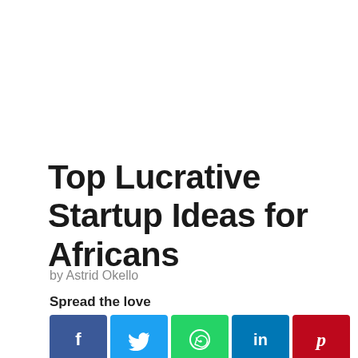Top Lucrative Startup Ideas for Africans
by Astrid Okello
Spread the love
[Figure (infographic): Social sharing buttons: Facebook, Twitter, WhatsApp, LinkedIn, Pinterest, and a share button (orange)]